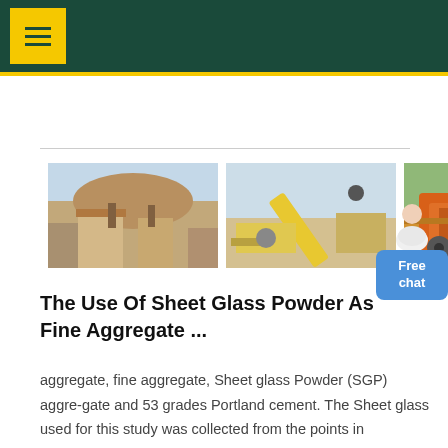[Figure (photo): Three photos of mining/quarry equipment and facilities: a stone structure building at a quarry site, a yellow conveyor belt aggregate processing plant, and orange heavy mining machinery.]
The Use Of Sheet Glass Powder As Fine Aggregate ...
aggregate, fine aggregate, Sheet glass Powder (SGP) aggre-gate and 53 grades Portland cement. The Sheet glass used for this study was collected from the points in Chidambaram taluk